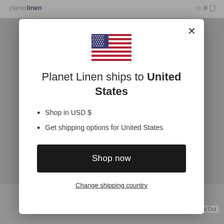[Figure (screenshot): Background of a website for Planet Linen, showing a header with logo and navigation icons, blurred product images, and 'Sold Out' labels at the bottom.]
[Figure (illustration): United States flag emoji/icon centered in the modal dialog.]
Planet Linen ships to United States
Shop in USD $
Get shipping options for United States
Shop now
Change shipping country